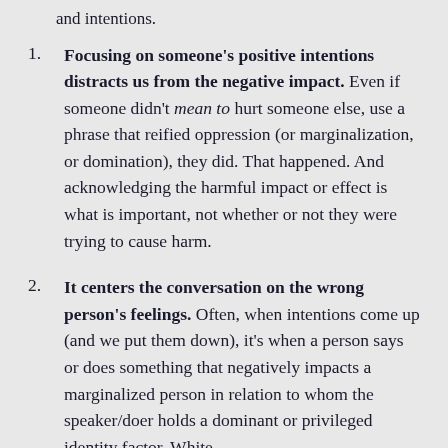and intentions.
Focusing on someone's positive intentions distracts us from the negative impact. Even if someone didn't mean to hurt someone else, use a phrase that reified oppression (or marginalization, or domination), they did. That happened. And acknowledging the harmful impact or effect is what is important, not whether or not they were trying to cause harm.
It centers the conversation on the wrong person's feelings. Often, when intentions come up (and we put them down), it's when a person says or does something that negatively impacts a marginalized person in relation to whom the speaker/doer holds a dominant or privileged identity factor. White...